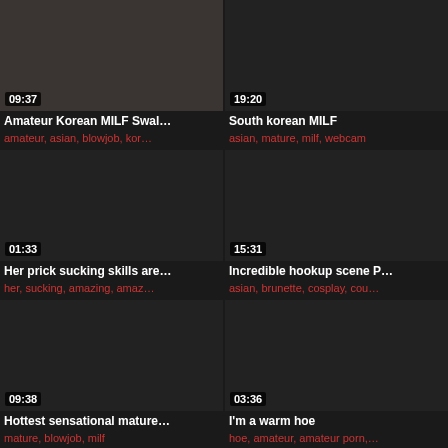[Figure (screenshot): Video thumbnail top-left with duration 09:37, title Amateur Korean MILF Swal..., tags: amateur, asian, blowjob, kor...]
[Figure (screenshot): Video thumbnail top-right with duration 19:20, title South korean MILF, tags: asian, mature, milf, webcam]
[Figure (screenshot): Video thumbnail middle-left with duration 01:33, title Her prick sucking skills are..., tags: her, sucking, amazing, amaz...]
[Figure (screenshot): Video thumbnail middle-right with duration 15:31, title Incredible hookup scene P..., tags: asian, brunette, cosplay, cou...]
[Figure (screenshot): Video thumbnail bottom-left with duration 09:38, title Hottest sensational mature..., tags: mature, blowjob, milf]
[Figure (screenshot): Video thumbnail bottom-right with duration 03:36, title I'm a warm hoe, tags: hoe, amateur, amateur porn,...]